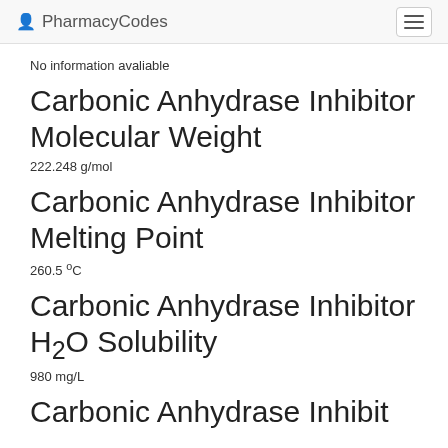PharmacyCodes
No information avaliable
Carbonic Anhydrase Inhibitor Molecular Weight
222.248 g/mol
Carbonic Anhydrase Inhibitor Melting Point
260.5 °C
Carbonic Anhydrase Inhibitor H2O Solubility
980 mg/L
Carbonic Anhydrase Inhibitor